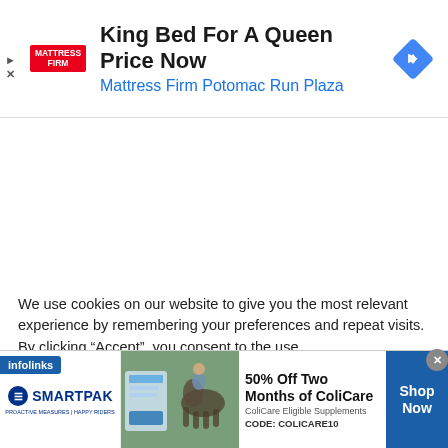[Figure (screenshot): Top banner advertisement for Mattress Firm featuring logo, headline 'King Bed For A Queen Price Now', subheadline 'Mattress Firm Potomac Run Plaza', and a blue navigation diamond icon]
[Figure (screenshot): Cookie consent notice text: 'We use cookies on our website to give you the most relevant experience by remembering your preferences and repeat visits. By clicking Accept, you consent to the use' with infolinks badge]
[Figure (screenshot): Bottom banner advertisement for SmartPak featuring horse and rider image, '50% Off Two Months of ColiCare, ColiCare Eligible Supplements, CODE: COLICARE10', Shop Now button]